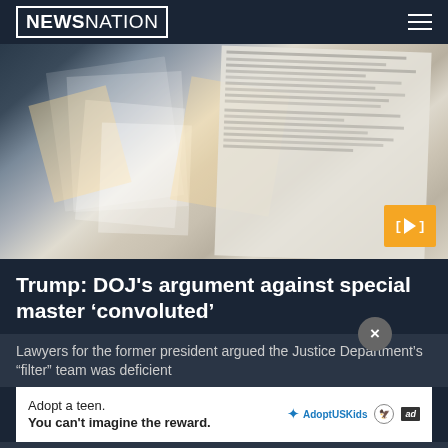NEWSNATION
[Figure (photo): Photo of classified documents spread out on a surface, with a legal document visible in the background. An orange play button overlay is in the bottom-right corner.]
Trump: DOJ's argument against special master ‘convoluted’
Lawyers for the former president argued the Justice Department’s “filter” team was deficient
Adopt a teen. You can't imagine the reward.
HEALTH